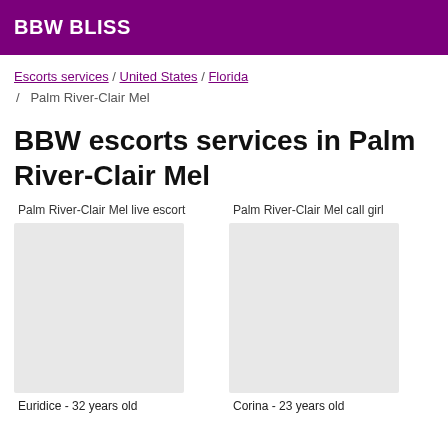BBW BLISS
Escorts services / United States / Florida / Palm River-Clair Mel
BBW escorts services in Palm River-Clair Mel
Palm River-Clair Mel live escort
Palm River-Clair Mel call girl
Euridice - 32 years old
Corina - 23 years old